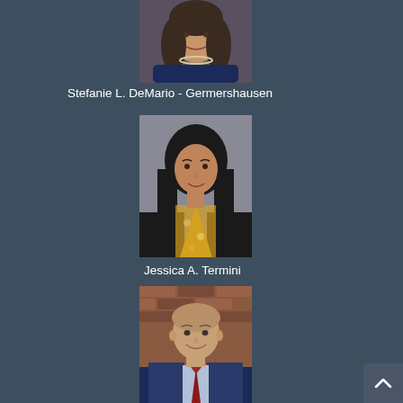[Figure (photo): Headshot of Stefanie L. DeMario - Germershausen, a woman with long dark hair wearing a navy top and pearl necklace, smiling]
Stefanie L. DeMario - Germershausen
[Figure (photo): Headshot of Jessica A. Termini, a woman with long dark hair wearing a black blazer and yellow floral scarf, smiling]
Jessica A. Termini
[Figure (photo): Headshot of a man, bald with a blue suit and red tie, smiling, with brick background]